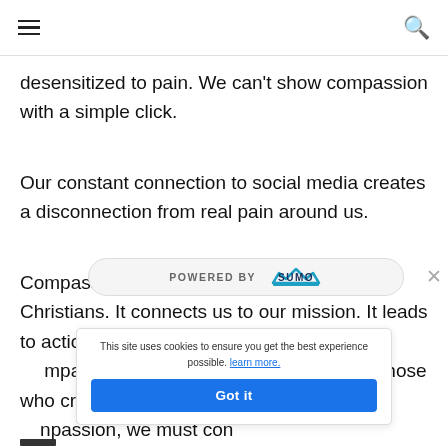[hamburger menu icon] [search icon]
desensitized to pain. We can't show compassion with a simple click.
Our constant connection to social media creates a disconnection from real pain around us.
Compassion is an important virtue for Christians. It connects us to our mission. It leads to action. It requires humility and sacrifice. Compassion gets in the mess. It cries with those who cry. It hurts with those who hurt. To show compassion, we must connect with people.
[Figure (screenshot): POWERED BY SUMO banner overlay with crown logo and close (×) button]
[Figure (screenshot): Cookie consent popup: 'This site uses cookies to ensure you get the best experience possible. Learn more.' with a blue 'Got it' button]